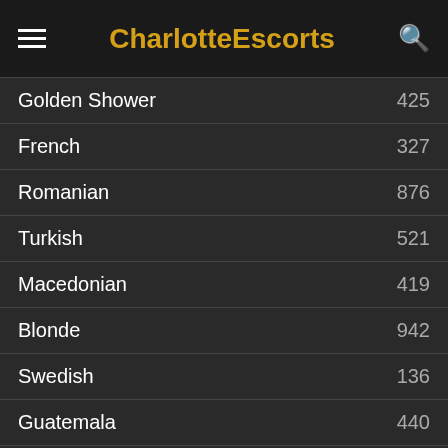CharlotteEscorts
Golden Shower  425
French  327
Romanian  876
Turkish  521
Macedonian  419
Blonde  942
Swedish  136
Guatemala  440
Finnish  181